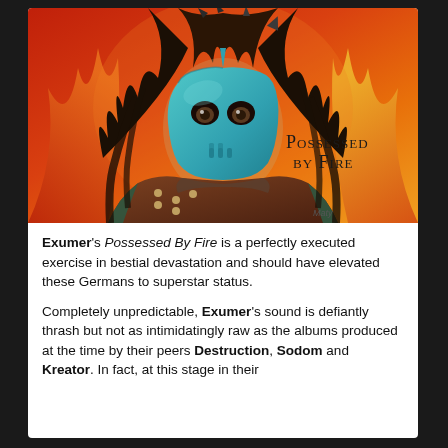[Figure (illustration): Album cover art for Possessed By Fire by Exumer. A figure wearing a teal/blue hockey mask with spikes on head, long dark hair, leather armor with studs, against a fiery red and orange background. Text on the image reads 'Possessed By Fire' in a serif font.]
Exumer's Possessed By Fire is a perfectly executed exercise in bestial devastation and should have elevated these Germans to superstar status.
Completely unpredictable, Exumer's sound is defiantly thrash but not as intimidatingly raw as the albums produced at the time by their peers Destruction, Sodom and Kreator. In fact, at this stage in their